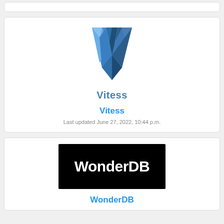[Figure (logo): Partial white card at top of page]
[Figure (logo): Vitess logo — a geometric blue V shape made of polygonal facets, with the word Vitess below it in bold blue-gray text]
Vitess
Last updated June 27, 2022, 10:44 p.m.
[Figure (logo): WonderDB logo — white bold text 'WonderDB' on a black rectangular background]
WonderDB